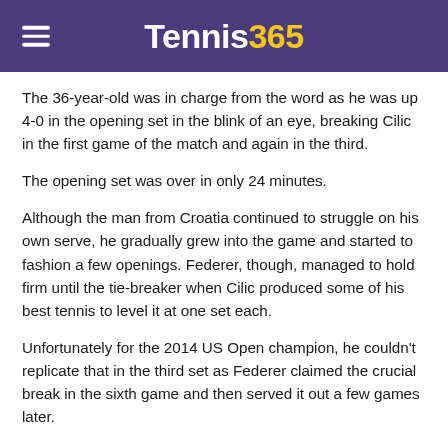Tennis365
The 36-year-old was in charge from the word as he was up 4-0 in the opening set in the blink of an eye, breaking Cilic in the first game of the match and again in the third.
The opening set was over in only 24 minutes.
Although the man from Croatia continued to struggle on his own serve, he gradually grew into the game and started to fashion a few openings. Federer, though, managed to hold firm until the tie-breaker when Cilic produced some of his best tennis to level it at one set each.
Unfortunately for the 2014 US Open champion, he couldn't replicate that in the third set as Federer claimed the crucial break in the sixth game and then served it out a few games later.
And after breaking his opponent early in the fourth set, it looked like Federer would cruise home, but Cilic came roaring back in the sixth game as he broke to love to level it at 3-3.